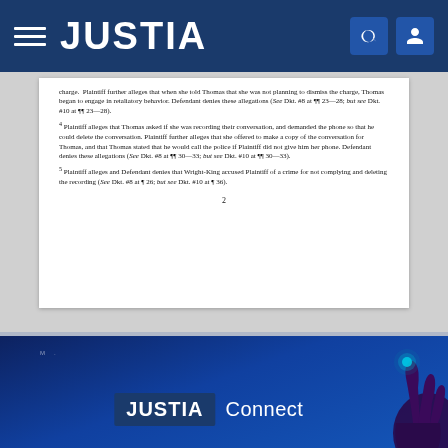[Figure (screenshot): Justia website navigation bar with hamburger menu, JUSTIA logo, search icon, and user icon on dark blue background]
charge. Plaintiff further alleges that when she told Thomas that she was not planning to dismiss the charge, Thomas began to engage in retaliatory behavior. Defendant denies these allegations (See Dkt. #8 at ¶¶ 23—28; but see Dkt. #10 at ¶¶ 23—28).
4 Plaintiff alleges that Thomas asked if she was recording their conversation, and demanded the phone so that he could delete the conversation. Plaintiff further alleges that she offered to make a copy of the conversation for Thomas, and that Thomas stated that he would call the police if Plaintiff did not give him her phone. Defendant denies these allegations (See Dkt. #8 at ¶¶ 30—33; but see Dkt. #10 at ¶¶ 30—33).
5 Plaintiff alleges and Defendant denies that Wright-King accused Plaintiff of a crime for not complying and deleting the recording (See Dkt. #8 at ¶ 26; but see Dkt. #10 at ¶ 36).
2
[Figure (screenshot): Justia Connect branding section on dark blue background with a glowing hand illustration and JUSTIA Connect logo]